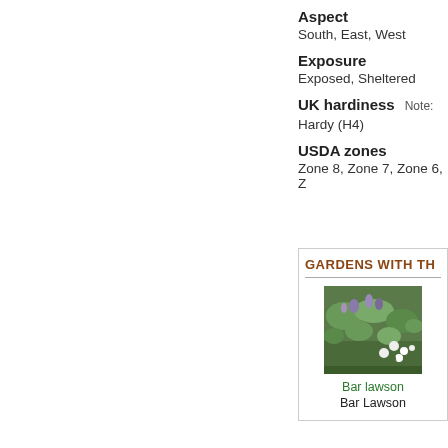Aspect
South, East, West
Exposure
Exposed, Sheltered
UK hardiness
Note:
Hardy (H4)
USDA zones
Zone 8, Zone 7, Zone 6, Z
GARDENS WITH TH
[Figure (photo): Garden photo showing mixed plantings with purple, white and green flowers]
Bar lawson
Bar Lawson